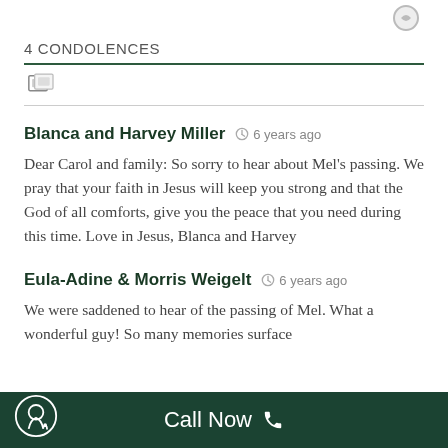4 CONDOLENCES
Blanca and Harvey Miller  6 years ago
Dear Carol and family: So sorry to hear about Mel's passing. We pray that your faith in Jesus will keep you strong and that the God of all comforts, give you the peace that you need during this time. Love in Jesus, Blanca and Harvey
Eula-Adine & Morris Weigelt  6 years ago
We were saddened to hear of the passing of Mel. What a wonderful guy! So many memories surface
Call Now